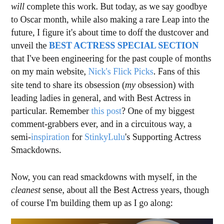will complete this work. But today, as we say goodbye to Oscar month, while also making a rare Leap into the future, I figure it's about time to doff the dustcover and unveil the BEST ACTRESS SPECIAL SECTION that I've been engineering for the past couple of months on my main website, Nick's Flick Picks. Fans of this site tend to share its obsession (my obsession) with leading ladies in general, and with Best Actress in particular. Remember this post? One of my biggest comment-grabbers ever, and in a circuitous way, a semi-inspiration for StinkyLulu's Supporting Actress Smackdowns.
Now, you can read smackdowns with myself, in the cleanest sense, about all the Best Actress years, though of course I'm building them up as I go along:
[Figure (photo): Movie still showing two people — a bald man on the left smiling, and a woman on the right wearing a nautical/military cap, also smiling. A large '07' number is overlaid in golden/yellow text on the lower left of the image.]